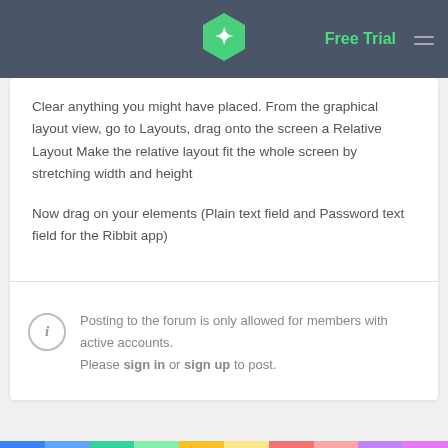Free Trial
Clear anything you might have placed. From the graphical layout view, go to Layouts, drag onto the screen a Relative Layout Make the relative layout fit the whole screen by stretching width and height
Now drag on your elements (Plain text field and Password text field for the Ribbit app)
Posting to the forum is only allowed for members with active accounts. Please sign in or sign up to post.